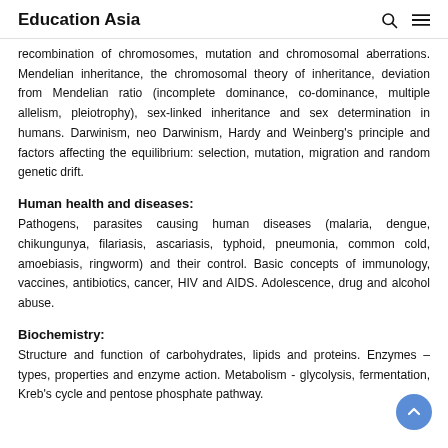Education Asia
recombination of chromosomes, mutation and chromosomal aberrations. Mendelian inheritance, the chromosomal theory of inheritance, deviation from Mendelian ratio (incomplete dominance, co-dominance, multiple allelism, pleiotrophy), sex-linked inheritance and sex determination in humans. Darwinism, neo Darwinism, Hardy and Weinberg's principle and factors affecting the equilibrium: selection, mutation, migration and random genetic drift.
Human health and diseases:
Pathogens, parasites causing human diseases (malaria, dengue, chikungunya, filariasis, ascariasis, typhoid, pneumonia, common cold, amoebiasis, ringworm) and their control. Basic concepts of immunology, vaccines, antibiotics, cancer, HIV and AIDS. Adolescence, drug and alcohol abuse.
Biochemistry:
Structure and function of carbohydrates, lipids and proteins. Enzymes – types, properties and enzyme action. Metabolism - glycolysis, fermentation, Kreb's cycle and pentose phosphate pathway.